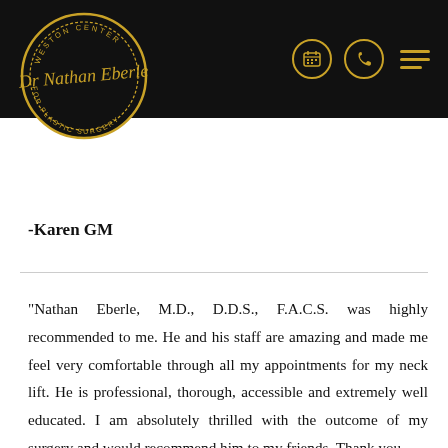[Figure (logo): Dr. Nathan Eberle Weston Center for Plastic Surgery circular logo in gold on black background, with script text 'Dr Nathan Eberle' across the center]
-Karen GM
"Nathan Eberle, M.D., D.D.S., F.A.C.S. was highly recommended to me. He and his staff are amazing and made me feel very comfortable through all my appointments for my neck lift. He is professional, thorough, accessible and extremely well educated. I am absolutely thrilled with the outcome of my surgery and would recommend him to my friends. Thank you